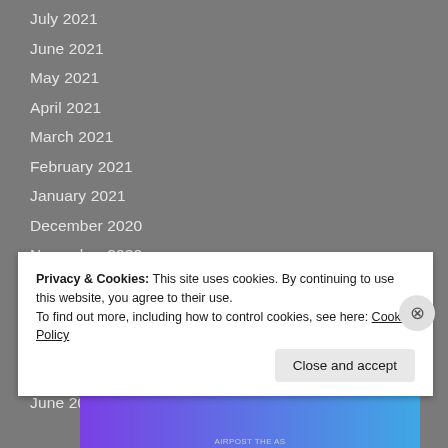July 2021
June 2021
May 2021
April 2021
March 2021
February 2021
January 2021
December 2020
November 2020
October 2020
September 2020
August 2020
July 2020
June 2020
Privacy & Cookies: This site uses cookies. By continuing to use this website, you agree to their use.
To find out more, including how to control cookies, see here: Cookie Policy
Close and accept